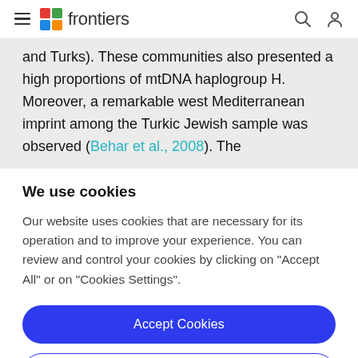frontiers
and Turks). These communities also presented a high proportions of mtDNA haplogroup H. Moreover, a remarkable west Mediterranean imprint among the Turkic Jewish sample was observed (Behar et al., 2008). The
We use cookies
Our website uses cookies that are necessary for its operation and to improve your experience. You can review and control your cookies by clicking on "Accept All" or on "Cookies Settings".
Accept Cookies
Cookies Settings